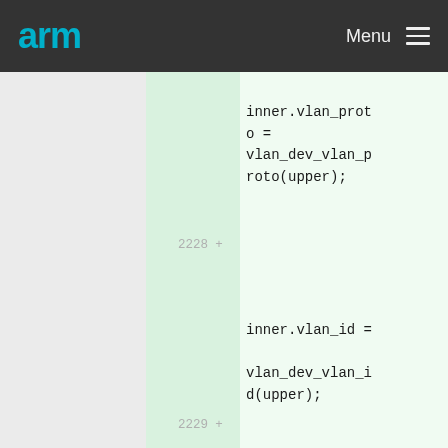arm Menu
inner.vlan_proto = vlan_dev_vlan_proto(upper);
2228 +
inner.vlan_id = vlan_dev_vlan_id(upper);
2229 +